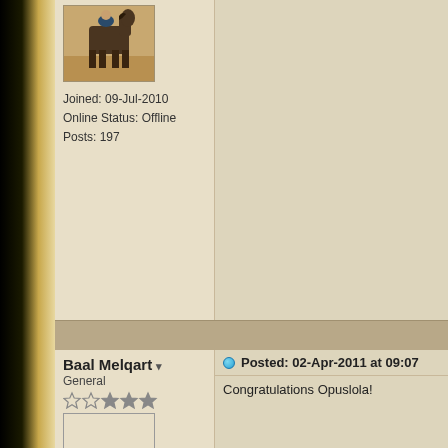[Figure (photo): Avatar image showing a horse standing on sand/desert ground]
Joined: 09-Jul-2010
Online Status: Offline
Posts: 197
Baal Melqart ▼
General
Posted: 02-Apr-2011 at 09:07
Congratulations Opuslola!
Timidi mater non flet
Posted: 02 Apr 2011 at 12:44